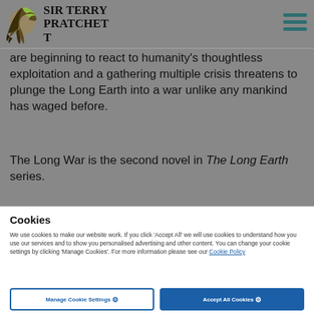SIR TERRY PRATCHETT
are beginning to react to humanity's thoughtless exploitation and a gathering multiple crisis threatens to plunge the Long Earth into a war unlike any mankind has waged before.
The Long War is the second novel in The Long Earth series.
[Figure (other): Black rounded rectangle (top of book cover area)]
Cookies
We use cookies to make our website work. If you click 'Accept All' we will use cookies to understand how you use our services and to show you personalised advertising and other content. You can change your cookie settings by clicking 'Manage Cookies'. For more information please see our Cookie Policy
Manage Cookie Settings | Accept All Cookies